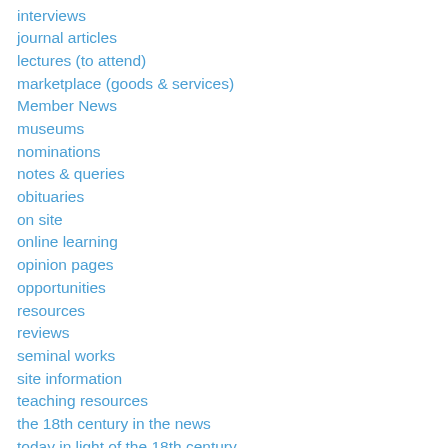interviews
journal articles
lectures (to attend)
marketplace (goods & services)
Member News
museums
nominations
notes & queries
obituaries
on site
online learning
opinion pages
opportunities
resources
reviews
seminal works
site information
teaching resources
the 18th century in the news
today in light of the 18th century